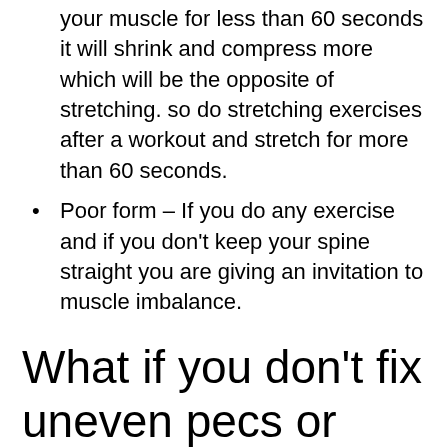your muscle for less than 60 seconds it will shrink and compress more which will be the opposite of stretching. so do stretching exercises after a workout and stretch for more than 60 seconds.
Poor form – If you do any exercise and if you don't keep your spine straight you are giving an invitation to muscle imbalance.
What if you don't fix uneven pecs or correct chest muscle imbalances ?